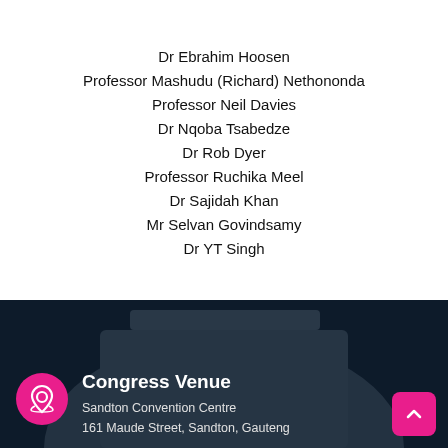Dr Ebrahim Hoosen
Professor Mashudu (Richard) Nethononda
Professor Neil Davies
Dr Nqoba Tsabedze
Dr Rob Dyer
Professor Ruchika Meel
Dr Sajidah Khan
Mr Selvan Govindsamy
Dr YT Singh
Congress Venue
Sandton Convention Centre
161 Maude Street, Sandton, Gauteng